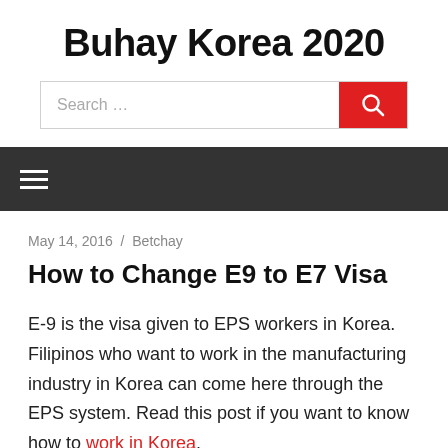Buhay Korea 2020
[Figure (other): Search bar with red search button]
[Figure (other): Dark navigation bar with hamburger menu icon]
May 14, 2016 / Betchay
How to Change E9 to E7 Visa
E-9 is the visa given to EPS workers in Korea. Filipinos who want to work in the manufacturing industry in Korea can come here through the EPS system. Read this post if you want to know how to work in Korea.